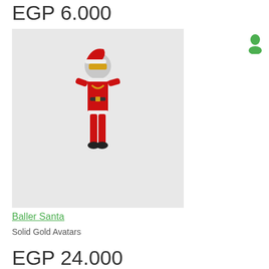EGP 6.000
[Figure (illustration): Santa Claus avatar character dressed in red suit with gold mask and sunglasses, game character pose]
Baller Santa
Solid Gold Avatars
EGP 24.000
[Figure (illustration): Green creature/hunter avatar character dressed in green foliage outfit, St. Patrick's Day Blood Hunter game character]
St. Patrick's Day Blood Hunter